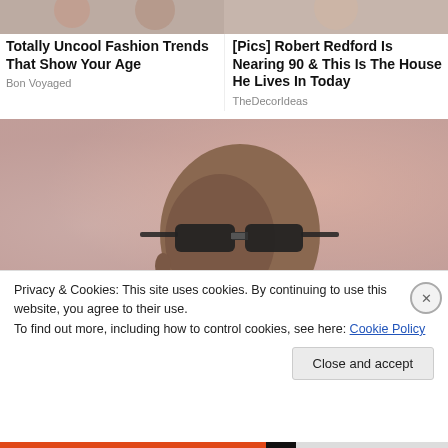[Figure (photo): Top left partial image of people/fashion]
[Figure (photo): Top right partial image of person]
Totally Uncool Fashion Trends That Show Your Age
Bon Voyaged
[Pics] Robert Redford Is Nearing 90 & This Is The House He Lives In Today
TheDecorIdeas
[Figure (photo): Main photo of a bald man with sunglasses and an earring against a blurred reddish background]
Privacy & Cookies: This site uses cookies. By continuing to use this website, you agree to their use.
To find out more, including how to control cookies, see here: Cookie Policy
Close and accept